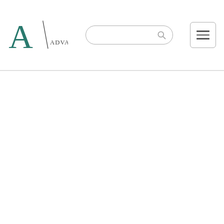Advani Law — website header with logo, search bar, and menu button